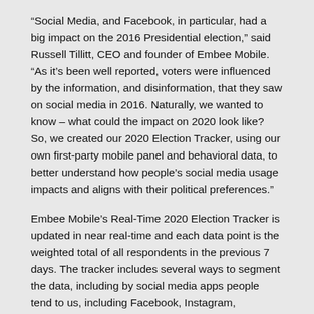“Social Media, and Facebook, in particular, had a big impact on the 2016 Presidential election,” said Russell Tillitt, CEO and founder of Embee Mobile. “As it’s been well reported, voters were influenced by the information, and disinformation, that they saw on social media in 2016. Naturally, we wanted to know – what could the impact on 2020 look like? So, we created our 2020 Election Tracker, using our own first-party mobile panel and behavioral data, to better understand how people’s social media usage impacts and aligns with their political preferences.”
Embee Mobile’s Real-Time 2020 Election Tracker is updated in near real-time and each data point is the weighted total of all respondents in the previous 7 days. The tracker includes several ways to segment the data, including by social media apps people tend to us, including Facebook, Instagram, Snapchat, TikTok, Reddit, and LinkedIn. The data highlighted